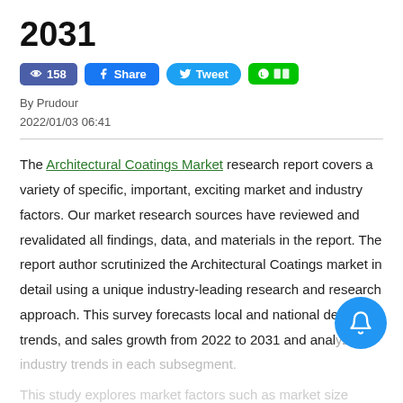2031
👁 158  Share  Tweet  [LINE icon]
By Prudour
2022/01/03 06:41
The Architectural Coatings Market research report covers a variety of specific, important, exciting market and industry factors. Our market research sources have reviewed and revalidated all findings, data, and materials in the report. The report author scrutinized the Architectural Coatings market in detail using a unique industry-leading research and research approach. This survey forecasts local and national demand trends, and sales growth from 2022 to 2031 and analyzes industry trends in each subsegment.
This study explores market factors such as market size